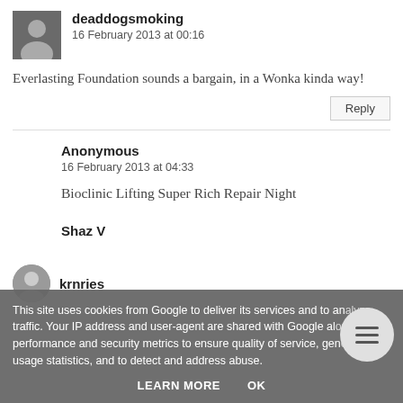deaddogsmoking
16 February 2013 at 00:16
Everlasting Foundation sounds a bargain, in a Wonka kinda way!
Reply
Anonymous
16 February 2013 at 04:33
Bioclinic Lifting Super Rich Repair Night
Shaz V
krnries
This site uses cookies from Google to deliver its services and to an... traffic. Your IP address and user-agent are shared with Google al... performance and security metrics to ensure quality of service, gen... usage statistics, and to detect and address abuse.
LEARN MORE
OK